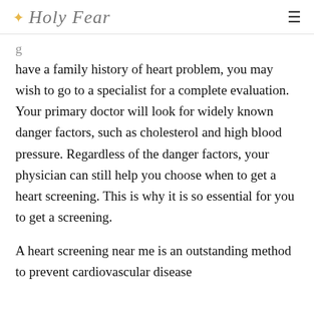✦ Holy Fear
have a family history of heart problem, you may wish to go to a specialist for a complete evaluation. Your primary doctor will look for widely known danger factors, such as cholesterol and high blood pressure. Regardless of the danger factors, your physician can still help you choose when to get a heart screening. This is why it is so essential for you to get a screening.
A heart screening near me is an outstanding method to prevent cardiovascular disease